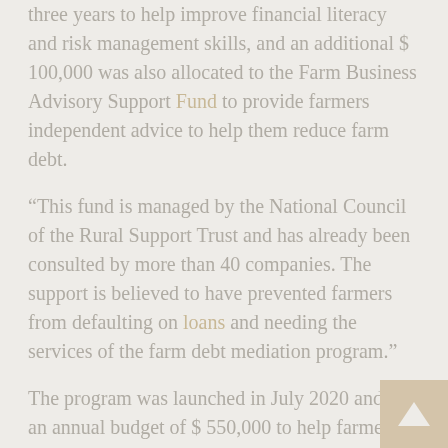three years to help improve financial literacy and risk management skills, and an additional $ 100,000 was also allocated to the Farm Business Advisory Support Fund to provide farmers independent advice to help them reduce farm debt.
“This fund is managed by the National Council of the Rural Support Trust and has already been consulted by more than 40 companies. The support is believed to have prevented farmers from defaulting on loans and needing the services of the farm debt mediation program.”
The program was launched in July 2020 and has an annual budget of $ 550,000 to help farmers and producers resolve debt issues with their lenders.
“There were 42 requests for mediation services under the program. Importantly, he encouraged lenders to engage in conversations with at-risk